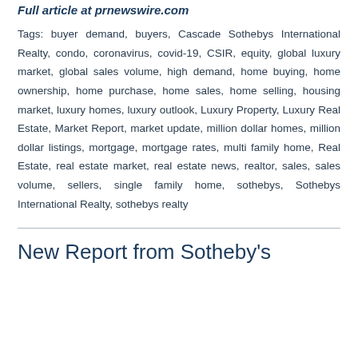Full article at prnewswire.com
Tags: buyer demand, buyers, Cascade Sothebys International Realty, condo, coronavirus, covid-19, CSIR, equity, global luxury market, global sales volume, high demand, home buying, home ownership, home purchase, home sales, home selling, housing market, luxury homes, luxury outlook, Luxury Property, Luxury Real Estate, Market Report, market update, million dollar homes, million dollar listings, mortgage, mortgage rates, multi family home, Real Estate, real estate market, real estate news, realtor, sales, sales volume, sellers, single family home, sothebys, Sothebys International Realty, sothebys realty
New Report from Sotheby's